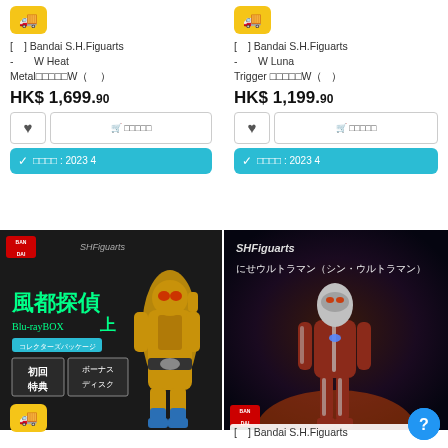[Figure (screenshot): Yellow truck delivery badge icon, left product]
[ ] Bandai S.H.Figuarts - W Heat Metal□□□□□W（　　）
HK$ 1,699.90
[Figure (screenshot): Heart and cart buttons with Japanese text]
[Figure (screenshot): Cyan delivery badge: ✓ □□□□: 2023 4]
[Figure (screenshot): Yellow truck delivery badge icon, right product]
[ ] Bandai S.H.Figuarts - W Luna Trigger □□□□□W（　　）
HK$ 1,199.90
[Figure (screenshot): Heart and cart buttons with Japanese text]
[Figure (screenshot): Cyan delivery badge: ✓ □□□□: 2023 4]
[Figure (photo): Kamen Rider W Heat Metal figure with Blu-ray BOX packaging background, 初回特典 ボーナスディスク]
[Figure (photo): SHFiguarts にせウルトラマン (シン・ウルトラマン) figure on dark background, BAN DAI logo]
[Figure (screenshot): Yellow truck delivery badge icon, bottom left]
[ ] Bandai S.H.Figuarts
[Figure (screenshot): Blue circle question mark button]